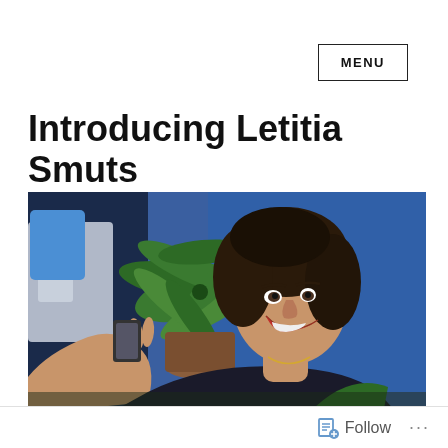MENU
Introducing Letitia Smuts
[Figure (photo): A smiling woman with dark curly hair wearing a black top, seated outdoors near large green succulent plants and a blue background, holding something in her hand.]
Follow ...